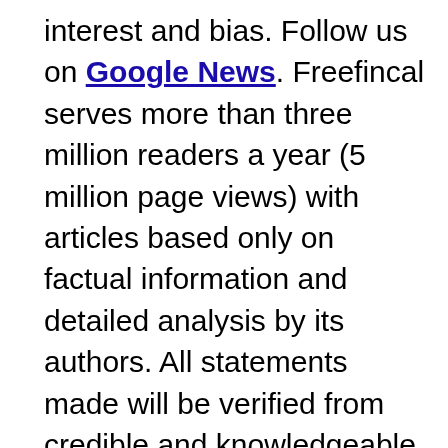interest and bias. Follow us on Google News. Freefincal serves more than three million readers a year (5 million page views) with articles based only on factual information and detailed analysis by its authors. All statements made will be verified from credible and knowledgeable sources before publication. Freefincal does not publish any paid articles, promotions, PR, satire or opinions without data. All opinions presented will only be inferences backed by verifiable, reproducible